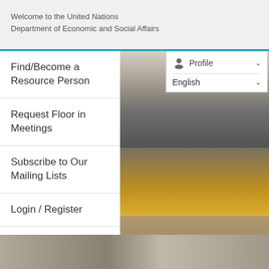Welcome to the United Nations
Department of Economic and Social Affairs
Find/Become a Resource Person
Request Floor in Meetings
Subscribe to Our Mailing Lists
Login / Register
[Figure (screenshot): UN conference hall interior showing a large auditorium with ceiling lighting rigs, a crowded audience, yellow speaker panels, and a foreground desk area with documents and laptops]
[Figure (photo): Bottom portion showing close-up of conference desk with papers and a person in purple clothing]